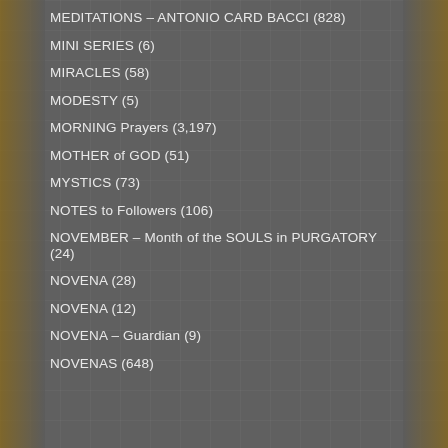MEDITATIONS – ANTONIO CARD BACCI (828)
MINI SERIES (6)
MIRACLES (58)
MODESTY (5)
MORNING Prayers (3,197)
MOTHER of GOD (51)
MYSTICS (73)
NOTES to Followers (106)
NOVEMBER – Month of the SOULS in PURGATORY (24)
NOVENA (28)
NOVENA (12)
NOVENA – Guardian (9)
NOVENAS (648)